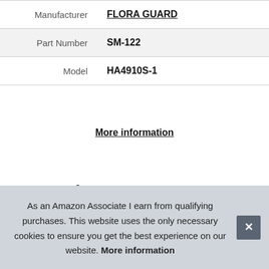| Manufacturer | FLORA GUARD |
| Part Number | SM-122 |
| Model | HA4910S-1 |
More information
4. Petal Power
As an Amazon Associate I earn from qualifying purchases. This website uses the only necessary cookies to ensure you get the best experience on our website. More information